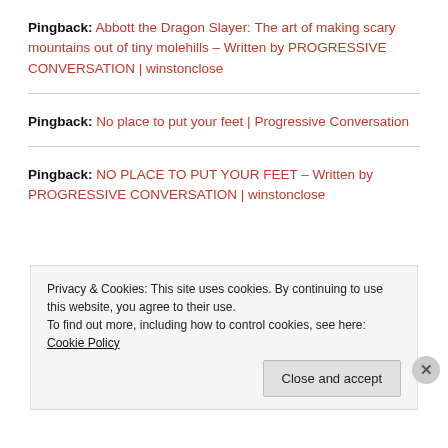Pingback: Abbott the Dragon Slayer: The art of making scary mountains out of tiny molehills – Written by PROGRESSIVE CONVERSATION | winstonclose
Pingback: No place to put your feet | Progressive Conversation
Pingback: NO PLACE TO PUT YOUR FEET – Written by PROGRESSIVE CONVERSATION | winstonclose
Privacy & Cookies: This site uses cookies. By continuing to use this website, you agree to their use.
To find out more, including how to control cookies, see here: Cookie Policy